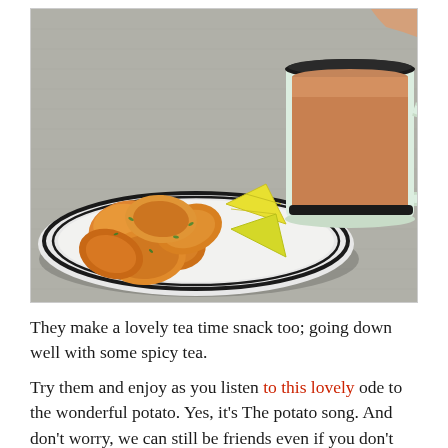[Figure (photo): A plate of golden fried potato snacks (pakoras/bhajis) with lime/lemon wedges on a white plate with black rim, alongside a light green enamel mug filled with milky spicy tea, placed on a textured grey/silver surface.]
They make a lovely tea time snack too; going down well with some spicy tea.
Try them and enjoy as you listen to this lovely ode to the wonderful potato. Yes, it's The potato song. And don't worry, we can still be friends even if you don't like potatoes... 😃